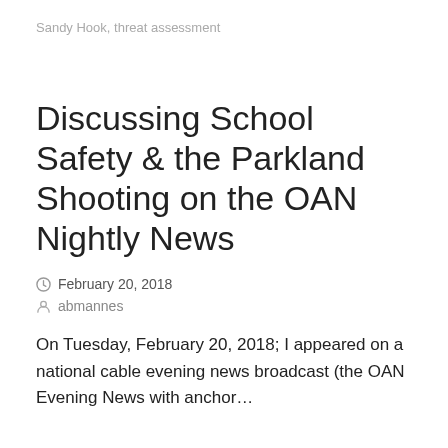Sandy Hook, threat assessment
Discussing School Safety & the Parkland Shooting on the OAN Nightly News
February 20, 2018
abmannes
On Tuesday, February 20, 2018; I appeared on a national cable evening news broadcast (the OAN Evening News with anchor…